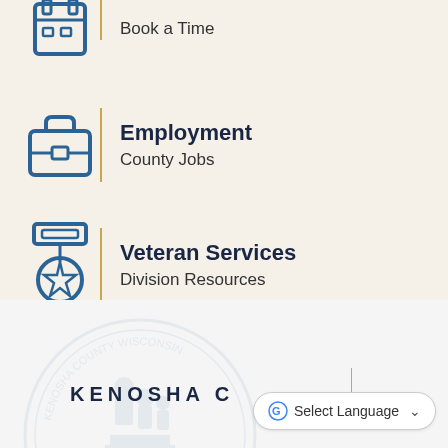[Figure (illustration): Partial screenshot icon at top — document/note with calendar, blue outline]
Book a Time
[Figure (illustration): Briefcase/suitcase icon, blue outline]
Employment
County Jobs
[Figure (illustration): Military medal with star, blue outline]
Veteran Services
Division Resources
[Figure (illustration): Kenosha County Wisconsin seal watermark in footer area, light gray]
KENOSHA C
Select Language